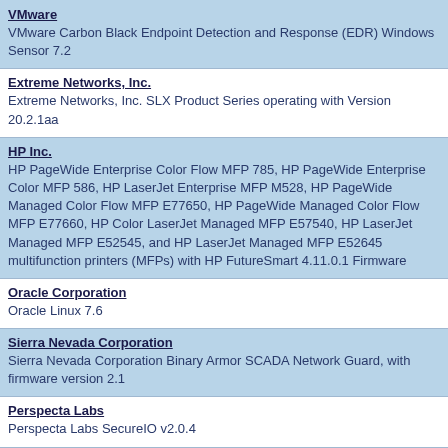VMware
VMware Carbon Black Endpoint Detection and Response (EDR) Windows Sensor 7.2
Extreme Networks, Inc.
Extreme Networks, Inc. SLX Product Series operating with Version 20.2.1aa
HP Inc.
HP PageWide Enterprise Color Flow MFP 785, HP PageWide Enterprise Color MFP 586, HP LaserJet Enterprise MFP M528, HP PageWide Managed Color Flow MFP E77650, HP PageWide Managed Color Flow MFP E77660, HP Color LaserJet Managed MFP E57540, HP LaserJet Managed MFP E52545, and HP LaserJet Managed MFP E52645 multifunction printers (MFPs) with HP FutureSmart 4.11.0.1 Firmware
Oracle Corporation
Oracle Linux 7.6
Sierra Nevada Corporation
Sierra Nevada Corporation Binary Armor SCADA Network Guard, with firmware version 2.1
Perspecta Labs
Perspecta Labs SecureIO v2.0.4